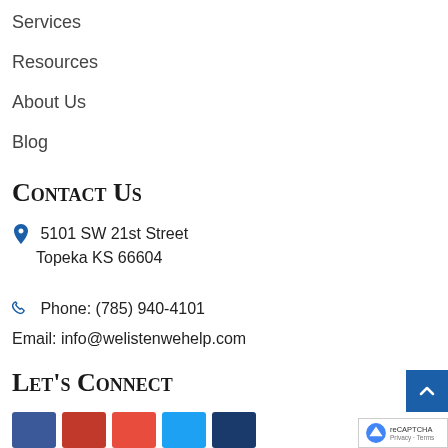Services
Resources
About Us
Blog
Contact Us
5101 SW 21st Street Topeka KS 66604
Phone: (785) 940-4101
Email: info@welistenwehelp.com
Let's Connect
[Figure (other): Social media icon buttons (Facebook red, Pinterest red, red, Twitter blue, dark blue) and reCAPTCHA badge and scroll-to-top button]